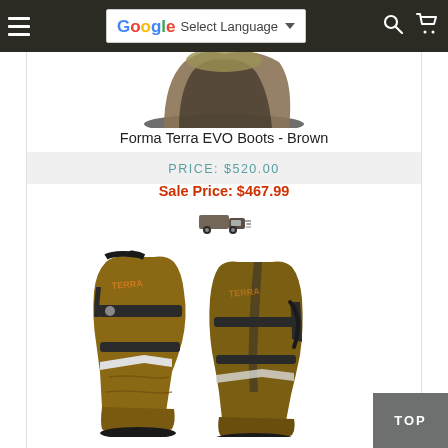Navigation bar with hamburger menu, Google Select Language widget, search icon, and cart icon
[Figure (photo): Top portion of brown/black motorcycle boot sole, cropped at top of visible area]
Forma Terra EVO Boots - Brown
PRICE: $520.00
Sale Price: $467.99
[Figure (illustration): Small shipping truck icon indicating free shipping]
[Figure (photo): Forma Terra EVO Boots in brown and black leather, pair shown side by side, featuring strap closures and rugged sole]
TOP